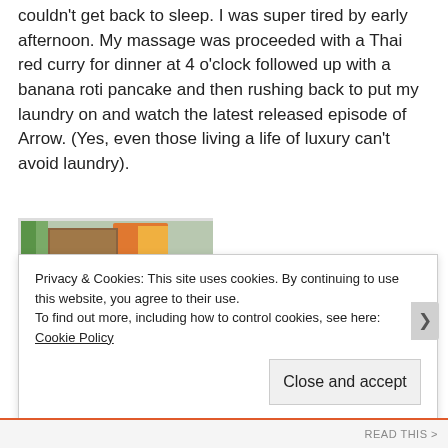couldn't get back to sleep. I was super tired by early afternoon. My massage was proceeded with a Thai red curry for dinner at 4 o'clock followed up with a banana roti pancake and then rushing back to put my laundry on and watch the latest released episode of Arrow. (Yes, even those living a life of luxury can't avoid laundry).
[Figure (photo): A close-up photo showing what appears to be a banana roti pancake with chocolate topping on a plate, with colorful items visible in the background.]
Privacy & Cookies: This site uses cookies. By continuing to use this website, you agree to their use. To find out more, including how to control cookies, see here: Cookie Policy